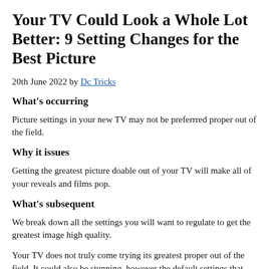Your TV Could Look a Whole Lot Better: 9 Setting Changes for the Best Picture
20th June 2022 by Dc Tricks
What’s occurring
Picture settings in your new TV may not be preferrred proper out of the field.
Why it issues
Getting the greatest picture doable out of your TV will make all of your reveals and films pop.
What’s subsequent
We break down all the settings you will want to regulate to get the greatest image high quality.
Your TV does not truly come trying its greatest proper out of the field. It could also be stunning, however the default settings that your TV maker use for calibration d…